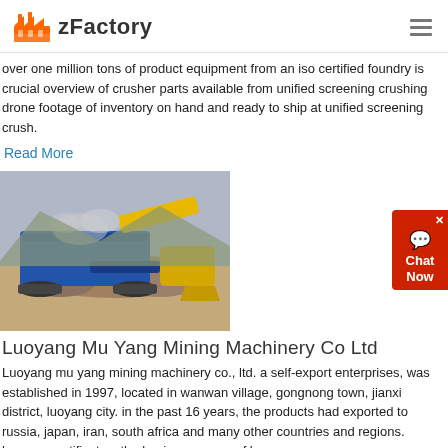zFactory
over one million tons of product equipment from an iso certified foundry is crucial overview of crusher parts available from unified screening crushing drone footage of inventory on hand and ready to ship at unified screening crush.
Read More
[Figure (photo): Mining/crushing machinery equipment at a quarry site, showing a blue mobile crushing plant with yellow loader in a rocky terrain.]
Luoyang Mu Yang Mining Machinery Co Ltd
Luoyang mu yang mining machinery co., ltd. a self-export enterprises, was established in 1997, located in wanwan village, gongnong town, jianxi district, luoyang city. in the past 16 years, the products had exported to russia, japan, iran, south africa and many other countries and regions. luoyang certificates. the business scope of luoyang
Read More